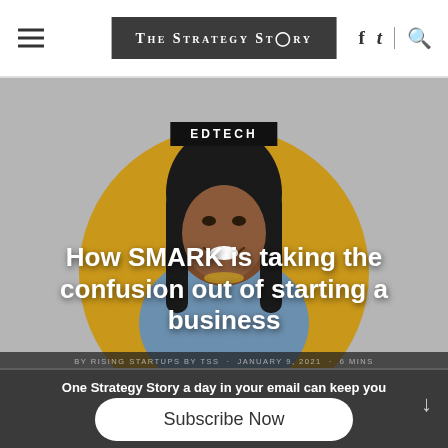The Strategy Story
[Figure (photo): Woman smiling with long black hair, wearing a denim jacket, posed in front of a gold/yellow circle on a grey background. Category tag EDTECH displayed in black box overlay.]
How SMARK is taking the confusion out of starting a business
BY RISING STARTUPS BY TSS · JANUARY 9, 2021 · 6 MINS
One Strategy Story a day in your email can keep you ahead in the game
Subscribe Now